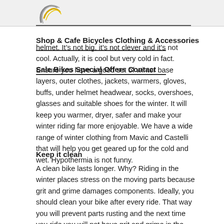[Figure (logo): Bicycle shop logo with circular arc shapes in grey and yellow/gold]
Shop & Cafe Bicycles Clothing & Accessories
Sale Bikes Special Offers Contact
helmet. It’s not big, it’s not clever and it’s not cool. Actually, it is cool but very cold in fact. Ensure you have a good set of winter base layers, outer clothes, jackets, warmers, gloves, buffs, under helmet headwear, socks, overshoes, glasses and suitable shoes for the winter. It will keep you warmer, dryer, safer and make your winter riding far more enjoyable. We have a wide range of winter clothing from Mavic and Castelli that will help you get geared up for the cold and wet. Hypothermia is not funny.
Keep it clean
A clean bike lasts longer. Why? Riding in the winter places stress on the moving parts because grit and grime damages components. Ideally, you should clean your bike after every ride. That way you will prevent parts rusting and the next time you ride you will not have grit and grime in the